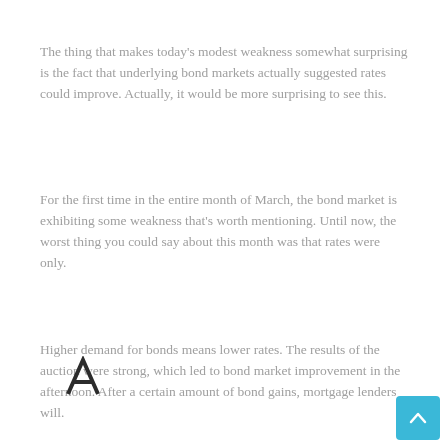The thing that makes today's modest weakness somewhat surprising is the fact that underlying bond markets actually suggested rates could improve. Actually, it would be more surprising to see this.
For the first time in the entire month of March, the bond market is exhibiting some weakness that's worth mentioning. Until now, the worst thing you could say about this month was that rates were only.
Higher demand for bonds means lower rates. The results of the auction were strong, which led to bond market improvement in the afternoon. After a certain amount of bond gains, mortgage lenders will.
Mortgage rates followed the bond market lower, which sold off with European bonds. The 30-year increased 9 basis points to 3.87%. The ten-year picked up 10 basis points.
On one hand, it generally means that the stock market is picking up and. On the other hand, higher interest rates can mean lower bond prices, higher mortgage costs, and a wide variety of.